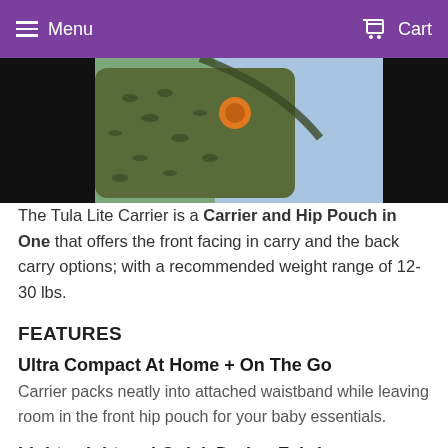Menu  Cart
[Figure (photo): Person wearing a Tula Lite Carrier in an olive/green pattern with bird print, orange logo badge visible, against a green background]
The Tula Lite Carrier is a Carrier and Hip Pouch in One that offers the front facing in carry and the back carry options; with a recommended weight range of 12-30 lbs.
FEATURES
Ultra Compact At Home + On The Go
Carrier packs neatly into attached waistband while leaving room in the front hip pouch for your baby essentials.
Lightweight and Quick Drying Fabric
Made of woven Ripstop material used favorably in the outdoor, apparel, and sportswear due to its durability and coolness. Includes detachable hood.